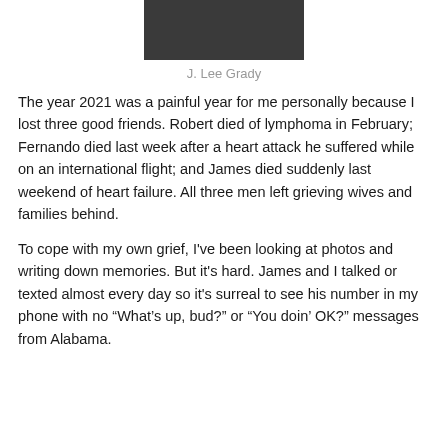[Figure (photo): Partial photo of a person wearing a dark ribbed sweater, cropped to show torso/lower head area only]
J. Lee Grady
The year 2021 was a painful year for me personally because I lost three good friends. Robert died of lymphoma in February; Fernando died last week after a heart attack he suffered while on an international flight; and James died suddenly last weekend of heart failure. All three men left grieving wives and families behind.
To cope with my own grief, I've been looking at photos and writing down memories. But it's hard. James and I talked or texted almost every day so it's surreal to see his number in my phone with no “What's up, bud?” or “You doin’ OK?” messages from Alabama.